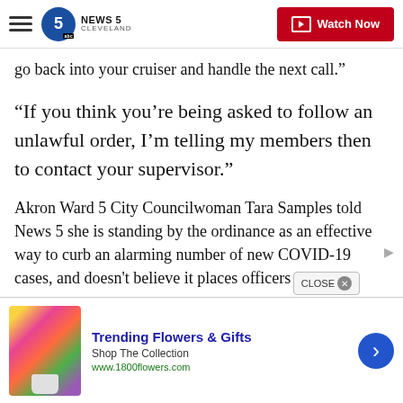NEWS 5 CLEVELAND — Watch Now
go back into your cruiser and handle the next call.”
“If you think you’re being asked to follow an unlawful order, I’m telling my members then to contact your supervisor.”
Akron Ward 5 City Councilwoman Tara Samples told News 5 she is standing by the ordinance as an effective way to curb an alarming number of new COVID-19 cases, and doesn’t believe it places officers in more
[Figure (photo): Advertisement banner showing flowers bouquet with text 'Trending Flowers & Gifts', 'Shop The Collection', 'www.1800flowers.com' and a navigation arrow button]